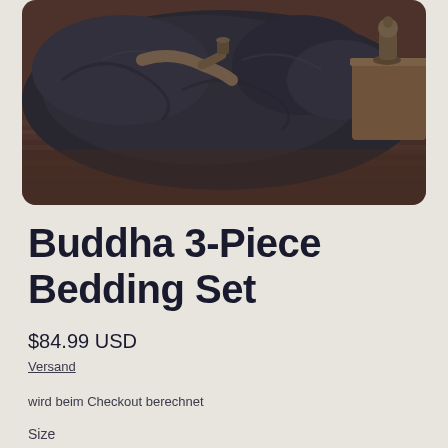[Figure (photo): Product photo of Buddha bedding set — dark grey/brown pillows and duvet arranged on a wooden floor, with a small Buddha figurine visible in the corner. Image has rounded corners.]
Buddha 3-Piece Bedding Set
$84.99 USD
Versand wird beim Checkout berechnet
Size
Full
Anzahl